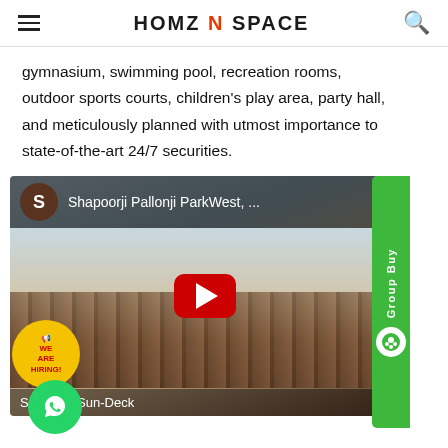HOMZ N SPACE
gymnasium, swimming pool, recreation rooms, outdoor sports courts, children's play area, party hall, and meticulously planned with utmost importance to state-of-the-art 24/7 securities.
[Figure (screenshot): YouTube video thumbnail for Shapoorji Pallonji ParkWest with play button overlay, showing a spacious sun-deck balcony scene with wicker furniture. Caption reads 'Spacious Sun-Deck'. Overlaid with WhatsApp button, 'We Are Hiring!' badge, and Group Buy sidebar.]